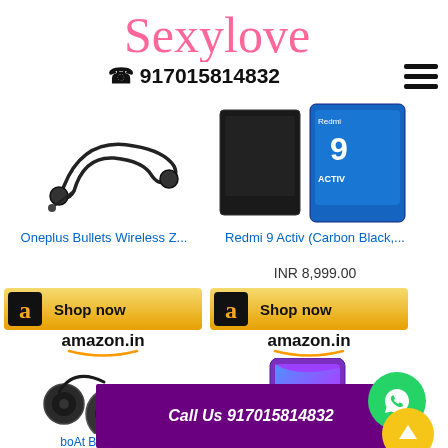[Figure (logo): Sexy Love cursive pink logo text]
☎ 917015814832
[Figure (illustration): Hamburger menu icon (three horizontal lines)]
[Figure (photo): Oneplus Bullets Wireless Z earphones product image]
Oneplus Bullets Wireless Z...
[Figure (photo): Redmi 9 Activ Carbon Black smartphone product image]
Redmi 9 Activ (Carbon Black,...
INR 8,999.00
[Figure (logo): Amazon Shop now button - orange/gold gradient with Amazon 'a' logo and 'Shop now' text, amazon.in branding]
[Figure (logo): Amazon Shop now button - orange/gold gradient with Amazon 'a' logo and 'Shop now' text, amazon.in branding]
[Figure (photo): boAt Bassheads 100 in Ear earphones product image]
boAt Bassheads 100 in Ear...
[Figure (photo): Redmi 9 Sporty Orange 4GB smartphone product image]
Redmi 9 (Sporty Orange, 4GB...
Call Us 917015814832